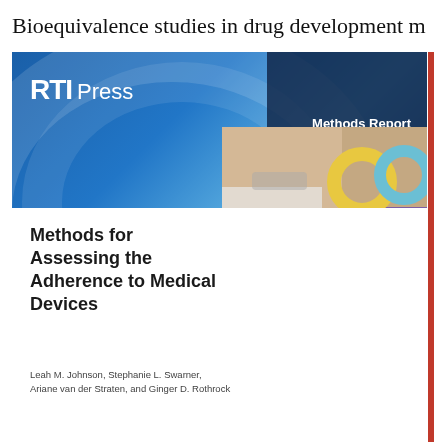Bioequivalence studies in drug development m
[Figure (illustration): RTI Press Methods Report cover page for October 2016. Shows RTI Press logo in white on blue gradient background with dark navy block on right showing 'Methods Report / October 2016'. Lab photo of researcher in purple gloves holding ring-shaped medical devices. Title: Methods for Assessing the Adherence to Medical Devices. Authors: Leah M. Johnson, Stephanie L. Swarner, Ariane van der Straten, and Ginger D. Rothrock.]
Methods for Assessing the Adherence to Medical Devices
Leah M. Johnson, Stephanie L. Swarner, Ariane van der Straten, and Ginger D. Rothrock